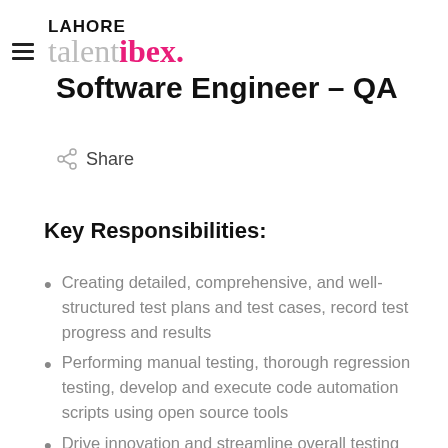LAHORE talent ibex. Software Engineer – QA
Share
Key Responsibilities:
Creating detailed, comprehensive, and well-structured test plans and test cases, record test progress and results
Performing manual testing, thorough regression testing, develop and execute code automation scripts using open source tools
Drive innovation and streamline overall testing processes
Research and analyze new tools, technologies, stay up-to-date with new testing tools and test strategies